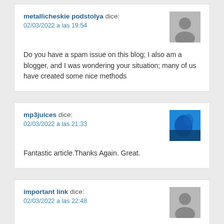metallicheskie podstolya dice:
02/03/2022 a las 19:54

Do you have a spam issue on this blog; I also am a blogger, and I was wondering your situation; many of us have created some nice methods
mp3juices dice:
02/03/2022 a las 21:33

Fantastic article.Thanks Again. Great.
important link dice:
02/03/2022 a las 22:48